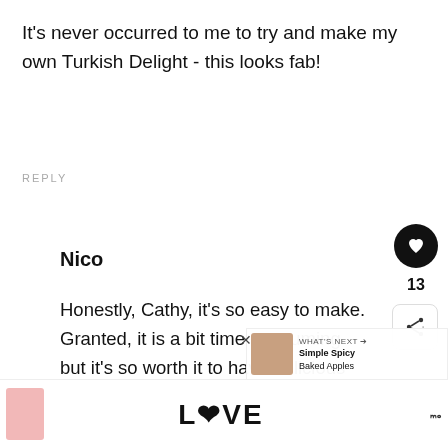It's never occurred to me to try and make my own Turkish Delight - this looks fab!
REPLY
Nico
Honestly, Cathy, it's so easy to make. Granted, it is a bit time-consuming but it's so worth it to have delicious fresh Turkish Delight! If you make some, do let me know, and...